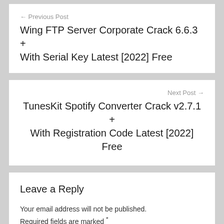← Previous Post
Wing FTP Server Corporate Crack 6.6.3 + With Serial Key Latest [2022] Free
Next Post →
TunesKit Spotify Converter Crack v2.7.1 + With Registration Code Latest [2022] Free
Leave a Reply
Your email address will not be published. Required fields are marked *
Comment